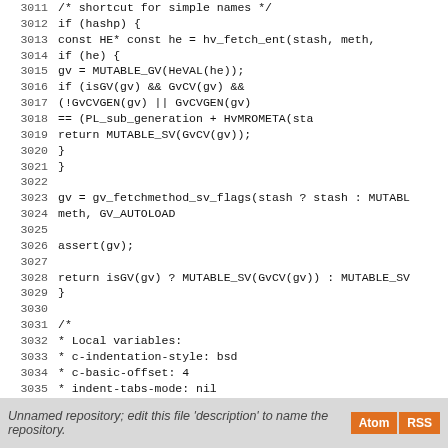Code listing lines 3011-3039 (C source code) and footer
Unnamed repository; edit this file 'description' to name the repository.